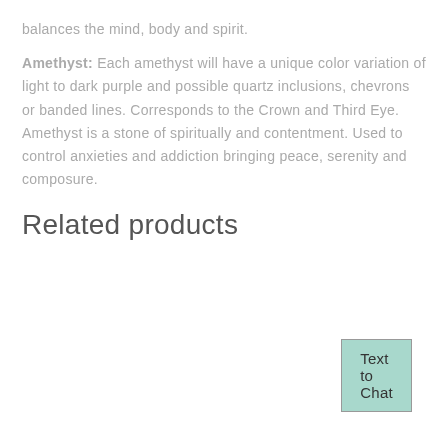balances the mind, body and spirit.
Amethyst: Each amethyst will have a unique color variation of light to dark purple and possible quartz inclusions, chevrons or banded lines. Corresponds to the Crown and Third Eye. Amethyst is a stone of spiritually and contentment. Used to control anxieties and addiction bringing peace, serenity and composure.
Related products
Text to Chat